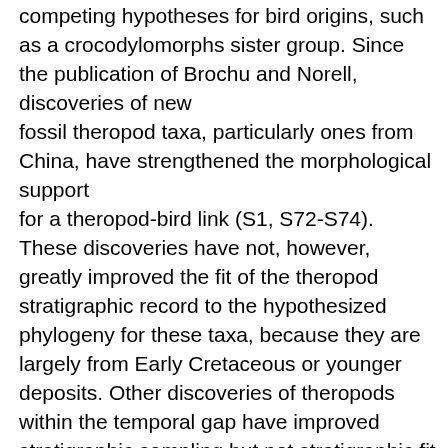competing hypotheses for bird origins, such as a crocodylomorphs sister group. Since the publication of Brochu and Norell, discoveries of new fossil theropod taxa, particularly ones from China, have strengthened the morphological support for a theropod-bird link (S1, S72-S74). These discoveries have not, however, greatly improved the fit of the theropod stratigraphic record to the hypothesized phylogeny for these taxa, because they are largely from Early Cretaceous or younger deposits. Other discoveries of theropods within the temporal gap have improved stratigraphic sampling but not stratigraphic fit to